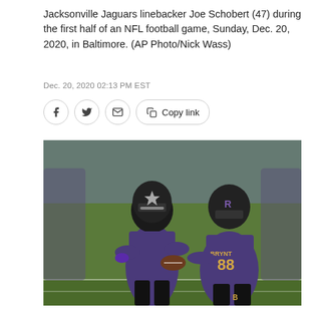Jacksonville Jaguars linebacker Joe Schobert (47) during the first half of an NFL football game, Sunday, Dec. 20, 2020, in Baltimore. (AP Photo/Nick Wass)
Dec. 20, 2020 02:13 PM EST
[Figure (photo): Two Baltimore Ravens players in purple uniforms on a football field. Player #88 (Bryant) on the right appears to be celebrating with a teammate who is holding a football. Both are wearing black helmets with Ravens logo.]